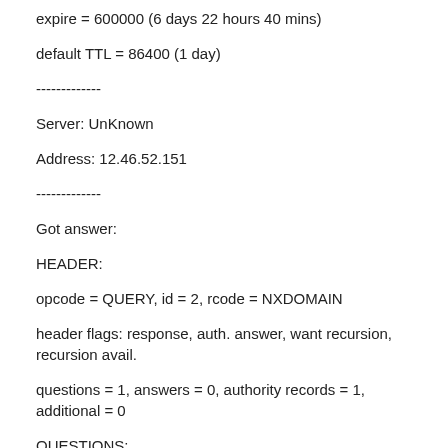expire = 600000 (6 days 22 hours 40 mins)
default TTL = 86400 (1 day)
-------------
Server: UnKnown
Address: 12.46.52.151
-------------
Got answer:
HEADER:
opcode = QUERY, id = 2, rcode = NXDOMAIN
header flags: response, auth. answer, want recursion, recursion avail.
questions = 1, answers = 0, authority records = 1, additional = 0
QUESTIONS: